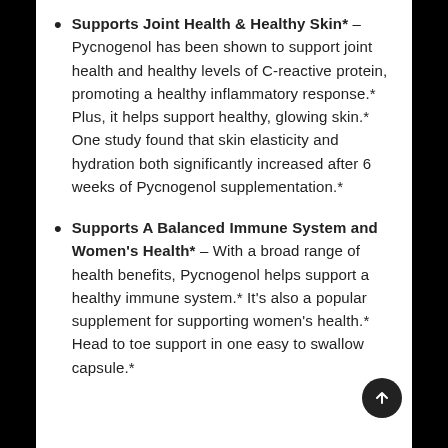Supports Joint Health & Healthy Skin* – Pycnogenol has been shown to support joint health and healthy levels of C-reactive protein, promoting a healthy inflammatory response.* Plus, it helps support healthy, glowing skin.* One study found that skin elasticity and hydration both significantly increased after 6 weeks of Pycnogenol supplementation.*
Supports A Balanced Immune System and Women's Health* – With a broad range of health benefits, Pycnogenol helps support a healthy immune system.* It's also a popular supplement for supporting women's health.* Head to toe support in one easy to swallow capsule.*